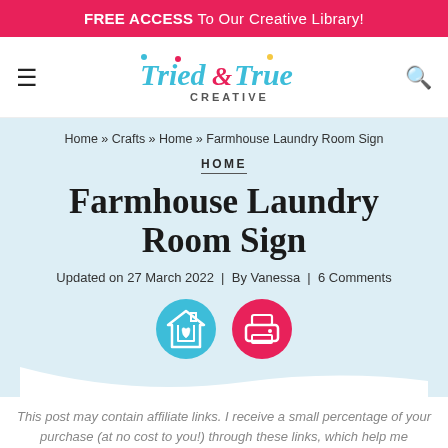FREE ACCESS To Our Creative Library!
[Figure (logo): Tried & True Creative logo with colorful decorative lettering]
Home » Crafts » Home » Farmhouse Laundry Room Sign
HOME
Farmhouse Laundry Room Sign
Updated on 27 March 2022  |  By Vanessa  |  6 Comments
[Figure (illustration): Two circular icon buttons: a teal circle with a house/heart icon and a pink circle with a printer icon]
This post may contain affiliate links. I receive a small percentage of your purchase (at no cost to you!) through these links, which help me continue to offer original tutorials and free printables!